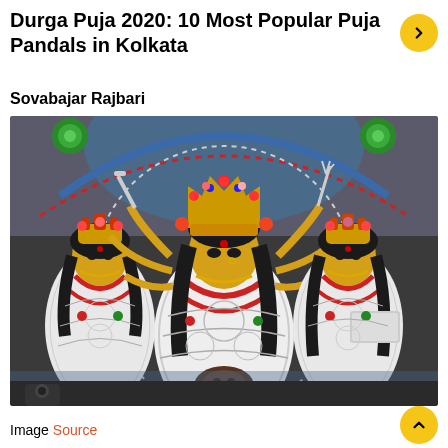Durga Puja 2020: 10 Most Popular Puja Pandals in Kolkata
Sovabajar Rajbari
[Figure (photo): Photograph of decorated Durga Puja idol at Sovabajar Rajbari, showing the goddess Durga in the center with ornate jewelry and garlands, flanked by two female figures (likely Lakshmi and Saraswati), all elaborately decorated with white, red and green ornamentation, set against a colorful background with floral and decorative patterns.]
Image Source